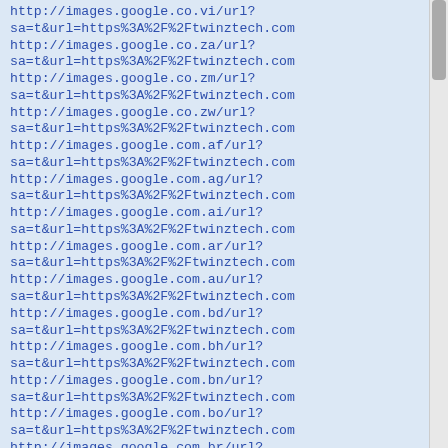http://images.google.co.vi/url?sa=t&url=https%3A%2F%2Ftwinztech.com
http://images.google.co.za/url?sa=t&url=https%3A%2F%2Ftwinztech.com
http://images.google.co.zm/url?sa=t&url=https%3A%2F%2Ftwinztech.com
http://images.google.co.zw/url?sa=t&url=https%3A%2F%2Ftwinztech.com
http://images.google.com.af/url?sa=t&url=https%3A%2F%2Ftwinztech.com
http://images.google.com.ag/url?sa=t&url=https%3A%2F%2Ftwinztech.com
http://images.google.com.ai/url?sa=t&url=https%3A%2F%2Ftwinztech.com
http://images.google.com.ar/url?sa=t&url=https%3A%2F%2Ftwinztech.com
http://images.google.com.au/url?sa=t&url=https%3A%2F%2Ftwinztech.com
http://images.google.com.bd/url?sa=t&url=https%3A%2F%2Ftwinztech.com
http://images.google.com.bh/url?sa=t&url=https%3A%2F%2Ftwinztech.com
http://images.google.com.bn/url?sa=t&url=https%3A%2F%2Ftwinztech.com
http://images.google.com.bo/url?sa=t&url=https%3A%2F%2Ftwinztech.com
http://images.google.com.br/url?sa=t&url=https%3A%2F%2Ftwinztech.com
http://images.google.com.bz/url?sa=t&url=https%3A%2F%2Ftwinztech.com